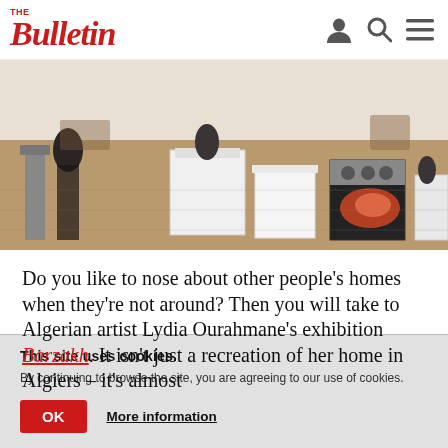The Bulletin
[Figure (photo): Gallery interior showing various household objects and kitchen appliances arranged on a wooden herringbone parquet floor, part of an art exhibition.]
Do you like to nose about other people's homes when they're not around? Then you will take to Algerian artist Lydia Ourahmane's exhibition Barzakh. It isn't just a recreation of her home in Algiers – it's almost
This site uses cookies. By continuing to browse the site, you are agreeing to our use of cookies.
OK
More information